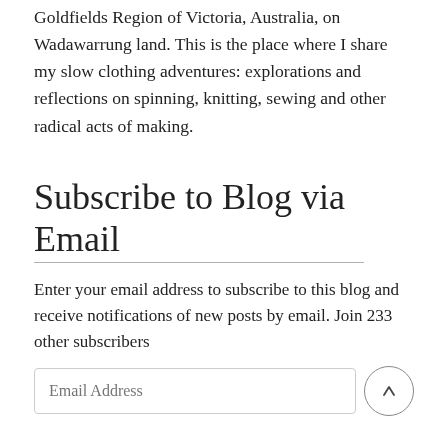Goldfields Region of Victoria, Australia, on Wadawarrung land. This is the place where I share my slow clothing adventures: explorations and reflections on spinning, knitting, sewing and other radical acts of making.
Subscribe to Blog via Email
Enter your email address to subscribe to this blog and receive notifications of new posts by email. Join 233 other subscribers